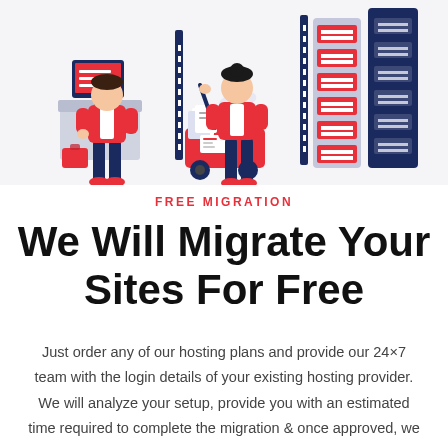[Figure (illustration): Colorful flat-style illustration showing people moving/migrating items: a person at a computer/checkout station on the left, a person pushing a red cart loaded with files/documents in the center, and server/locker units with red panels on the right. Color palette is red, dark navy blue, light lavender/gray, and white.]
FREE MIGRATION
We Will Migrate Your Sites For Free
Just order any of our hosting plans and provide our 24×7 team with the login details of your existing hosting provider. We will analyze your setup, provide you with an estimated time required to complete the migration & once approved, we will start moving them over.